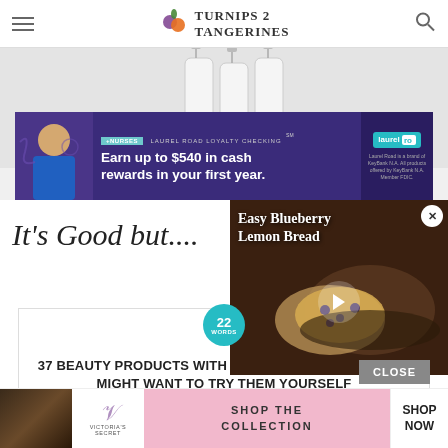TURNIPS 2 TANGERINES
[Figure (photo): Product bottles/containers displayed against light background]
[Figure (photo): Advertisement banner: nurse in blue scrubs, purple background. Text: +NURSES LAUREL ROAD LOYALTY CHECKING. Earn up to $540 in cash rewards in your first year. Laurel Road logo.]
It's Good but....
[Figure (screenshot): Video popup overlay with thumbnail of blueberry lemon bread on dark plate, play button, title: Easy Blueberry Lemon Bread]
[Figure (screenshot): 22 Words badge (teal circle) with embedded content card: 37 BEAUTY PRODUCTS WITH SUCH GOOD REVIEWS YOU MIGHT WANT TO TRY THEM YOURSELF]
[Figure (photo): Victoria's Secret advertisement: woman with curly hair, VS logo, SHOP THE COLLECTION, SHOP NOW button, pink background]